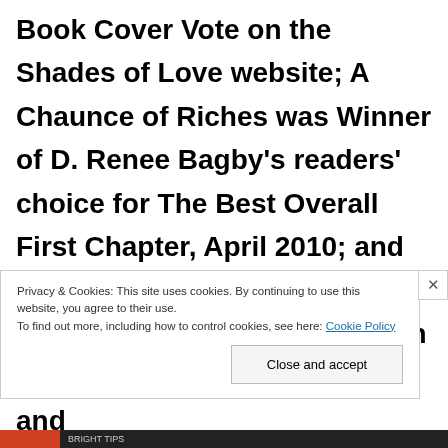Book Cover Vote on the Shades of Love website; A Chaunce of Riches was Winner of D. Renee Bagby's readers' choice for The Best Overall First Chapter, April 2010; and Hostage Heart, Final Sin and A Chaunce of Riches had top ten finishes in the 2009 Preditors' and
Privacy & Cookies: This site uses cookies. By continuing to use this website, you agree to their use.
To find out more, including how to control cookies, see here: Cookie Policy
Close and accept